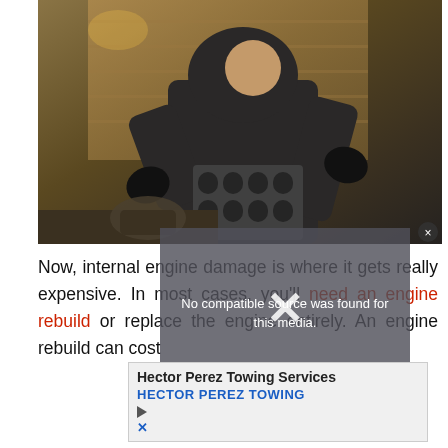[Figure (photo): A mechanic in a black hoodie and gloves working on a disassembled engine block (cylinder head) in a workshop setting. The background shows wooden panels and workshop equipment.]
No compatible source was found for this media.
Now, internal engine damage is where it gets really expensive. In most cases, you'll need an engine rebuild or replace the engine entirely. An engine rebuild can cost
[Figure (photo): An advertisement image for Hector Perez Towing Services, showing a car being towed with the Nissan logo visible.]
Hector Perez Towing Services
HECTOR PEREZ TOWING